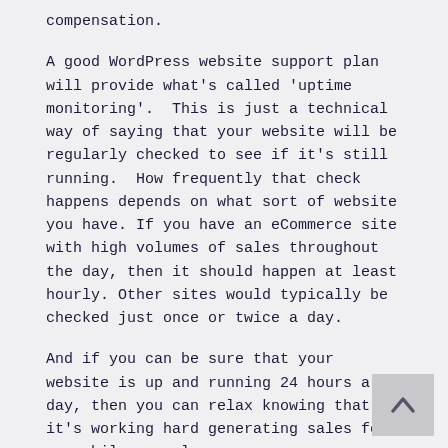compensation.
A good WordPress website support plan will provide what's called 'uptime monitoring'.  This is just a technical way of saying that your website will be regularly checked to see if it's still running.  How frequently that check happens depends on what sort of website you have. If you have an eCommerce site with high volumes of sales throughout the day, then it should happen at least hourly. Other sites would typically be checked just once or twice a day.
And if you can be sure that your website is up and running 24 hours a day, then you can relax knowing that it's working hard generating sales for you while you sleep.
Content management, marketing and strategy
[Figure (other): Back to top arrow button in grey square, bottom right corner]